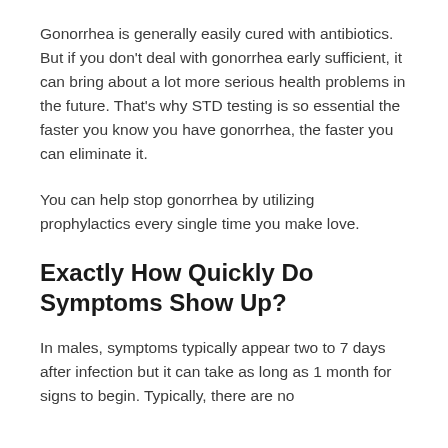Gonorrhea is generally easily cured with antibiotics. But if you don't deal with gonorrhea early sufficient, it can bring about a lot more serious health problems in the future. That's why STD testing is so essential the faster you know you have gonorrhea, the faster you can eliminate it.
You can help stop gonorrhea by utilizing prophylactics every single time you make love.
Exactly How Quickly Do Symptoms Show Up?
In males, symptoms typically appear two to 7 days after infection but it can take as long as 1 month for signs to begin. Typically, there are no